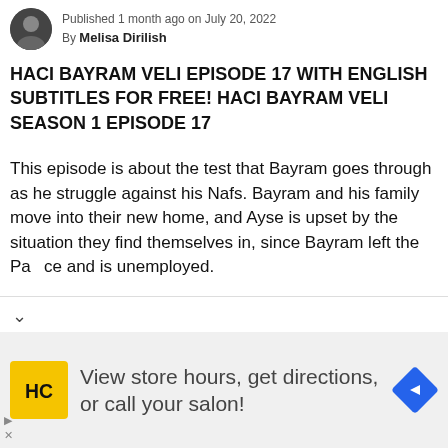Published 1 month ago on July 20, 2022
By Melisa Dirilish
HACI BAYRAM VELI EPISODE 17 WITH ENGLISH SUBTITLES FOR FREE! HACI BAYRAM VELI SEASON 1 EPISODE 17
This episode is about the test that Bayram goes through as he struggle against his Nafs. Bayram and his family move into their new home, and Ayse is upset by the situation they find themselves in, since Bayram left the Palace and is unemployed.
[Figure (infographic): Advertisement banner: HC logo (yellow square with HC text), text 'View store hours, get directions, or call your salon!', blue navigation arrow icon on right]